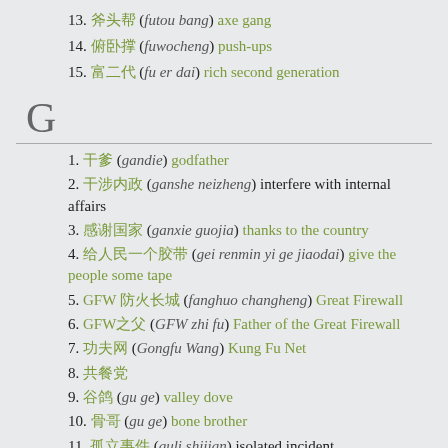13. 斧头帮 (futou bang) axe gang
14. 俯卧撑 (fuwocheng) push-ups
15. 富二代 (fu er dai) rich second generation
G
1. 干爹 (gandie) godfather
2. 干涉内政 (ganshe neizheng) interfere with internal affairs
3. 感谢国家 (ganxie guojia) thanks to the country
4. 给人民一个胶带 (gei renmin yi ge jiaodai) give the people some tape
5. GFW 防火长城 (fanghuo changheng) Great Firewall
6. GFW之父 (GFW zhi fu) Father of the Great Firewall
7. 功夫网 (Gongfu Wang) Kung Fu Net
8. 共餐党
9. 谷鸽 (gu ge) valley dove
10. 骨哥 (gu ge) bone brother
11. 孤立事件 (guli shijian) isolated incident